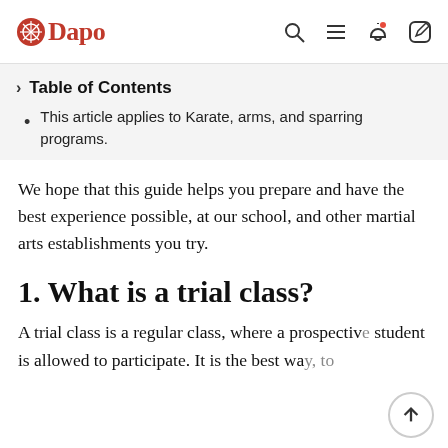Dapo
> Table of Contents
This article applies to Karate, arms, and sparring programs.
We hope that this guide helps you prepare and have the best experience possible, at our school, and other martial arts establishments you try.
1. What is a trial class?
A trial class is a regular class, where a prospectiv student is allowed to participate. It is the best wa, to